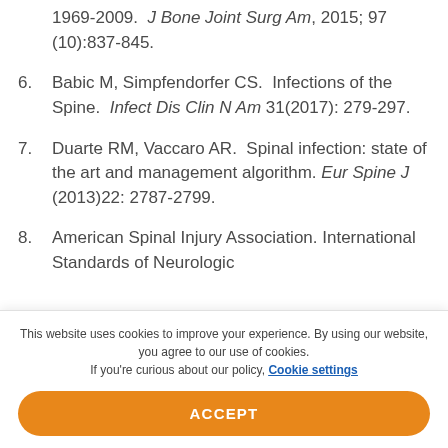1969-2009. J Bone Joint Surg Am, 2015; 97 (10):837-845.
6. Babic M, Simpfendorfer CS. Infections of the Spine. Infect Dis Clin N Am 31(2017): 279-297.
7. Duarte RM, Vaccaro AR. Spinal infection: state of the art and management algorithm. Eur Spine J (2013)22: 2787-2799.
8. American Spinal Injury Association. International Standards of Neurologic
This website uses cookies to improve your experience. By using our website, you agree to our use of cookies. If you're curious about our policy, Cookie settings
ACCEPT